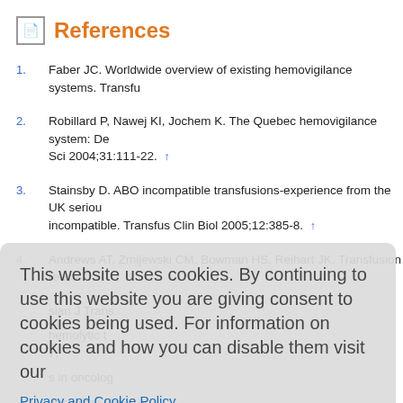References
1. Faber JC. Worldwide overview of existing hemovigilance systems. Transfu...
2. Robillard P, Nawej KI, Jochem K. The Quebec hemovigilance system: Des... Sci 2004;31:111-22. ↑
3. Stainsby D. ABO incompatible transfusions-experience from the UK seriou... incompatible. Transfus Clin Biol 2005;12:385-8. ↑
4. Andrews AT, Zmijewski CM, Bowman HS, Reihart JK. Transfusion reacti...
This website uses cookies. By continuing to use this website you are giving consent to cookies being used. For information on cookies and how you can disable them visit our
Privacy and Cookie Policy.
AGREE & PROCEED
sian J Trans...
hemolytic t... 7. ↑
s in oncology...
ons in the Qu...
9. Consensus conference: Perioperative red cell transfusion. JAMA 1988;260...